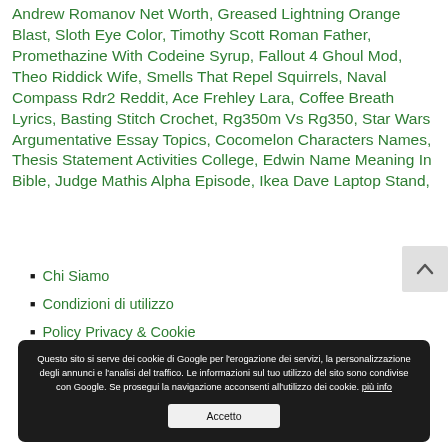Andrew Romanov Net Worth, Greased Lightning Orange Blast, Sloth Eye Color, Timothy Scott Roman Father, Promethazine With Codeine Syrup, Fallout 4 Ghoul Mod, Theo Riddick Wife, Smells That Repel Squirrels, Naval Compass Rdr2 Reddit, Ace Frehley Lara, Coffee Breath Lyrics, Basting Stitch Crochet, Rg350m Vs Rg350, Star Wars Argumentative Essay Topics, Cocomelon Characters Names, Thesis Statement Activities College, Edwin Name Meaning In Bible, Judge Mathis Alpha Episode, Ikea Dave Laptop Stand,
Chi Siamo
Condizioni di utilizzo
Policy Privacy & Cookie
Questo sito si serve dei cookie di Google per l'erogazione dei servizi, la personalizzazione degli annunci e l'analisi del traffico. Le informazioni sul tuo utilizzo del sito sono condivise con Google. Se prosegui la navigazione acconsenti all'utilizzo dei cookie. più info